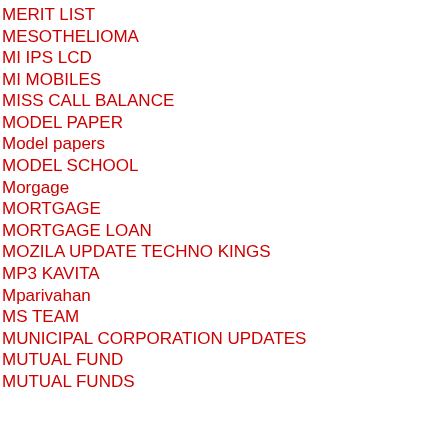MERIT LIST
MESOTHELIOMA
MI IPS LCD
MI MOBILES
MISS CALL BALANCE
MODEL PAPER
Model papers
MODEL SCHOOL
Morgage
MORTGAGE
MORTGAGE LOAN
MOZILA UPDATE TECHNO KINGS
MP3 KAVITA
Mparivahan
MS TEAM
MUNICIPAL CORPORATION UPDATES
MUTUAL FUND
MUTUAL FUNDS